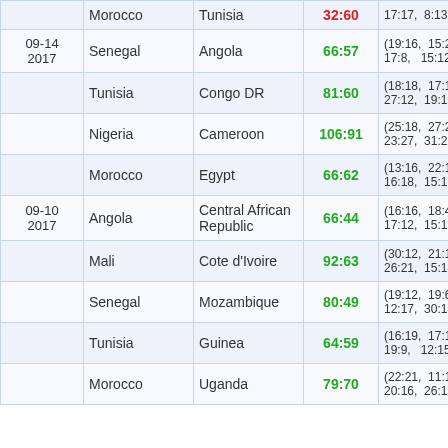| Date | Team 1 | Team 2 | Score | Quarters |
| --- | --- | --- | --- | --- |
|  | Morocco | Tunisia | 32:60 | (17:17, 8:13) |
| 09-14 2017 | Senegal | Angola | 66:57 | (19:16, 15:21, 17:8, 15:12) |
|  | Tunisia | Congo DR | 81:60 | (18:18, 17:15, 27:12, 19:15) |
|  | Nigeria | Cameroon | 106:91 | (25:18, 27:25, 23:27, 31:21) |
|  | Morocco | Egypt | 66:62 | (13:16, 22:16, 16:18, 15:12) |
| 09-10 2017 | Angola | Central African Republic | 66:44 | (16:16, 18:4, 17:12, 15:12) |
|  | Mali | Cote d'Ivoire | 92:63 | (30:12, 21:16, 26:21, 15:14) |
|  | Senegal | Mozambique | 80:49 | (19:12, 19:6, 12:17, 30:14) |
|  | Tunisia | Guinea | 64:59 | (16:19, 17:16, 19:9, 12:15) |
|  | Morocco | Uganda | 79:70 | (22:21, 11:15, 20:16, 26:18) |